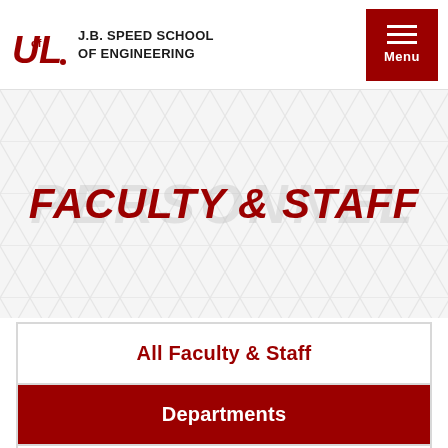[Figure (logo): University of Louisville UofL logo with J.B. Speed School of Engineering wordmark]
J.B. Speed School of Engineering | Menu
FACULTY & STAFF
All Faculty & Staff
Departments
Research
Support Services